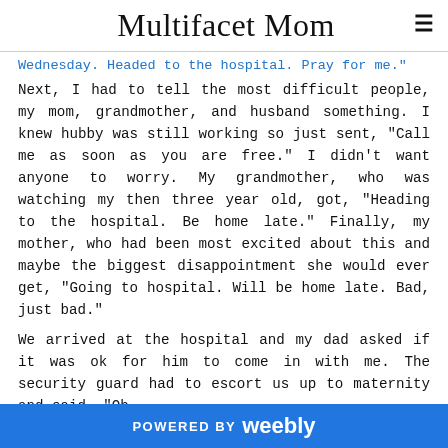Multifacet Mom
Wednesday. Headed to the hospital. Pray for me."
Next, I had to tell the most difficult people, my mom, grandmother, and husband something. I knew hubby was still working so just sent, "Call me as soon as you are free." I didn't want anyone to worry. My grandmother, who was watching my then three year old, got, "Heading to the hospital. Be home late." Finally, my mother, who had been most excited about this and maybe the biggest disappointment she would ever get, "Going to hospital. Will be home late. Bad, just bad."
We arrived at the hospital and my dad asked if it was ok for him to come in with me. The security guard had to escort us up to maternity and said, "Oh,
POWERED BY weebly